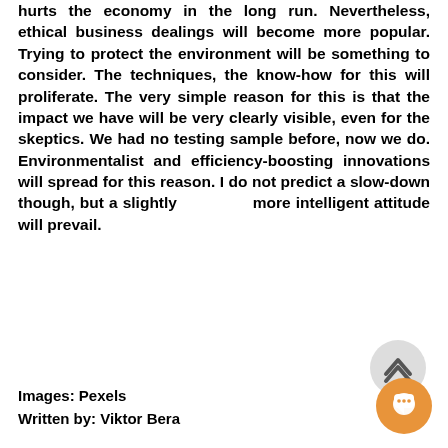hurts the economy in the long run. Nevertheless, ethical business dealings will become more popular. Trying to protect the environment will be something to consider. The techniques, the know-how for this will proliferate. The very simple reason for this is that the impact we have will be very clearly visible, even for the skeptics. We had no testing sample before, now we do. Environmentalist and efficiency-boosting innovations will spread for this reason. I do not predict a slow-down though, but a slightly more intelligent attitude will prevail.
Images: Pexels
Written by: Viktor Bera